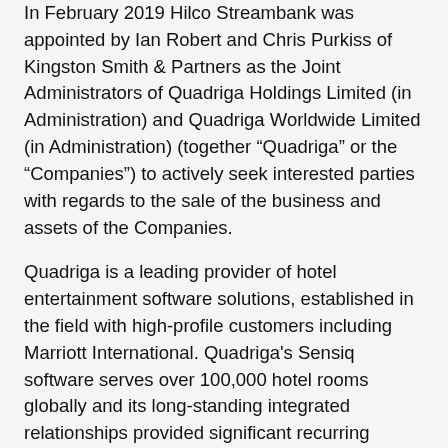In February 2019 Hilco Streambank was appointed by Ian Robert and Chris Purkiss of Kingston Smith & Partners as the Joint Administrators of Quadriga Holdings Limited (in Administration) and Quadriga Worldwide Limited (in Administration) (together "Quadriga" or the "Companies") to actively seek interested parties with regards to the sale of the business and assets of the Companies.
Quadriga is a leading provider of hotel entertainment software solutions, established in the field with high-profile customers including Marriott International. Quadriga's Sensiq software serves over 100,000 hotel rooms globally and its long-standing integrated relationships provided significant recurring contracted income.
Assets available for sale included the lucrative contracts Quadriga holds with major names in the hotel industry, the Sensiq in-room entertainment sphere, brand assets and the Companies' servers and hardware, integrated at customer sites related to the Companies' operations and technology